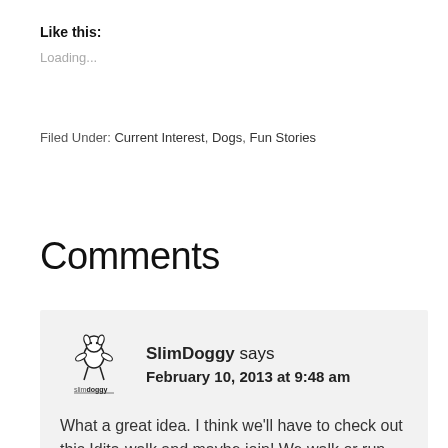Like this:
Loading...
Filed Under: Current Interest, Dogs, Fun Stories
Comments
SlimDoggy says February 10, 2013 at 9:48 am What a great idea. I think we'll have to check out this Idita-walk and maybe join! We walk or run everyday anyways, may as well do it for a good